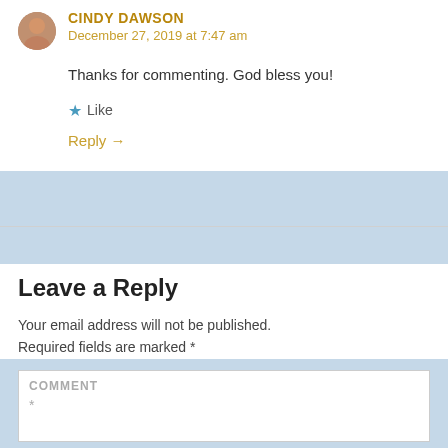CINDY DAWSON
December 27, 2019 at 7:47 am
Thanks for commenting. God bless you!
★ Like
Reply →
Leave a Reply
Your email address will not be published. Required fields are marked *
COMMENT *